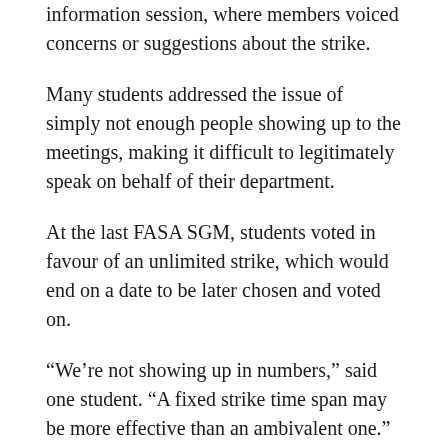information session, where members voiced concerns or suggestions about the strike.
Many students addressed the issue of simply not enough people showing up to the meetings, making it difficult to legitimately speak on behalf of their department.
At the last FASA SGM, students voted in favour of an unlimited strike, which would end on a date to be later chosen and voted on.
“We’re not showing up in numbers,” said one student. “A fixed strike time span may be more effective than an ambivalent one.”
Quorum was finally reached just after 5:00 p.m., which ended the informal session.
Progress was quickly made, with almost all students voting in favour of the formation of a strike committee consisting of FASA councilors Jesse Cumming, Erika Couto, Olivier